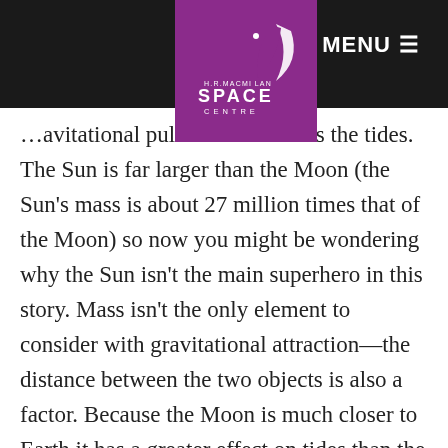MENU ≡
[Figure (logo): H.R. MacMillan Space Centre logo — white text on purple background with stylized crescent/arc graphic]
…avitational pull also influences the tides. The Sun is far larger than the Moon (the Sun's mass is about 27 million times that of the Moon) so now you might be wondering why the Sun isn't the main superhero in this story. Mass isn't the only element to consider with gravitational attraction—the distance between the two objects is also a factor. Because the Moon is much closer to Earth it has a greater effect on tides than the Sun even though the Moon is so much smaller, about twice the effect of the Sun. Even with its great distance from the Earth (149,598,000 km) the enormous mass…